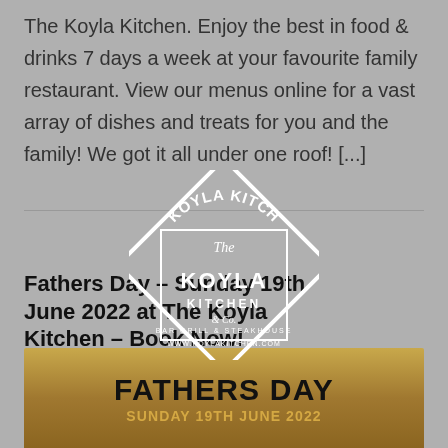The Koyla Kitchen. Enjoy the best in food & drinks 7 days a week at your favourite family restaurant. View our menus online for a vast array of dishes and treats for you and the family! We got it all under one roof! [...]
[Figure (logo): The Koyla Kitchen diamond-shaped logo with text: The Koyla Kitchen, Bar Grill & Steakhouse, www.koylakitchen.com]
Fathers Day – Sunday 19th June 2022 at The Koyla Kitchen – Book Now!
13 JUNE 2022 by ADMIN in ALL, NEWS, PRESS
[Figure (infographic): Fathers Day promotional banner with gold/dark brown gradient background. Text: FATHERS DAY in large bold black letters, SUNDAY 19TH JUNE 2022 in gold letters below.]